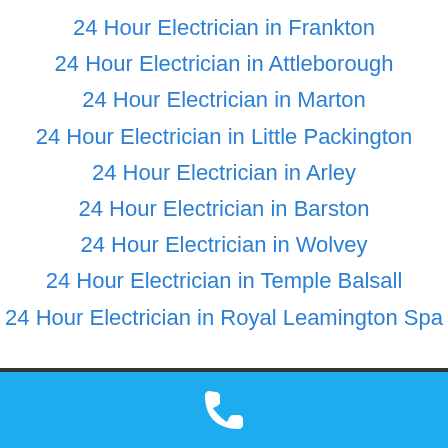24 Hour Electrician in Frankton
24 Hour Electrician in Attleborough
24 Hour Electrician in Marton
24 Hour Electrician in Little Packington
24 Hour Electrician in Arley
24 Hour Electrician in Barston
24 Hour Electrician in Wolvey
24 Hour Electrician in Temple Balsall
24 Hour Electrician in Royal Leamington Spa
[Figure (infographic): Blue footer bar with white telephone handset icon]